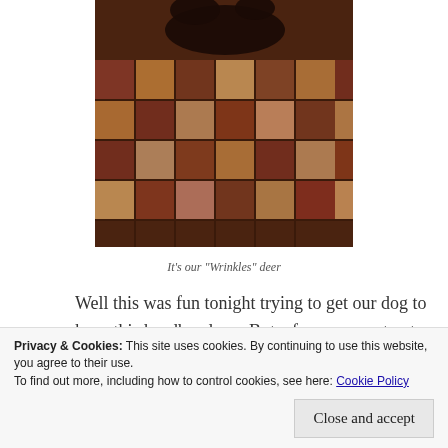[Figure (photo): Photo of a dog on a patchwork quilt/rug wearing a deer headband, viewed from above. The image is partially visible showing the colorful patchwork fabric.]
It's our "Wrinkles" deer
Well this was fun tonight trying to get our dog to keep this headband on.  But a few yummy treats soon had her sitting pretty for a picture!!
Wrinkles is our crazy rescue dog (you can read about
Privacy & Cookies: This site uses cookies. By continuing to use this website, you agree to their use.
To find out more, including how to control cookies, see here: Cookie Policy
Close and accept